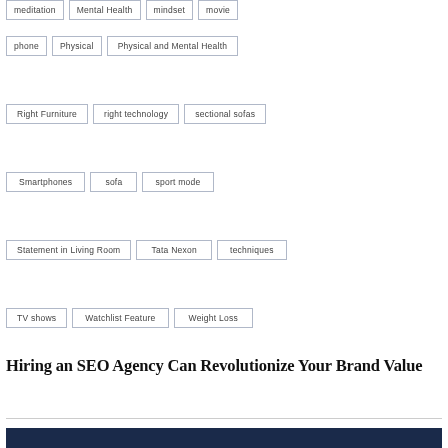meditation
Mental Health
mindset
movie
phone
Physical
Physical and Mental Health
Right Furniture
right technology
sectional sofas
Smartphones
sofa
sport mode
Statement in Living Room
Tata Nexon
techniques
TV shows
Watchlist Feature
Weight Loss
Hiring an SEO Agency Can Revolutionize Your Brand Value